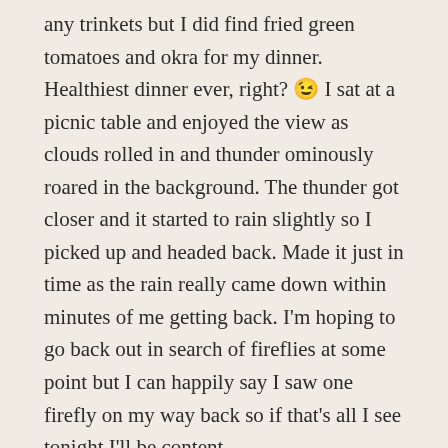any trinkets but I did find fried green tomatoes and okra for my dinner. Healthiest dinner ever, right? 😉 I sat at a picnic table and enjoyed the view as clouds rolled in and thunder ominously roared in the background. The thunder got closer and it started to rain slightly so I picked up and headed back. Made it just in time as the rain really came down within minutes of me getting back. I'm hoping to go back out in search of fireflies at some point but I can happily say I saw one firefly on my way back so if that's all I see tonight I'll be content.
I keep looking outside but haven't seen any more fireflies and it's still quite light outside so I think I'll google the best time to catch them and see if I can make that work. Good evening, everyone!